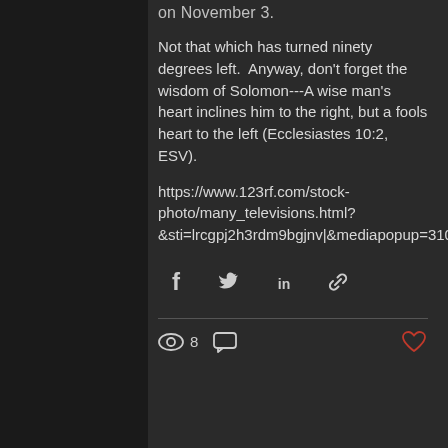on November 3.
Not that which has turned ninety degrees left.  Anyway, don't forget the wisdom of Solomon---A wise man's heart inclines him to the right, but a fools heart to the left (Ecclesiastes 10:2, ESV).
https://www.123rf.com/stock-photo/many_televisions.html?&sti=lrcgpj2h3rdm9bgjnv|&mediapopup=31062779
[Figure (infographic): Social share icons: Facebook, Twitter, LinkedIn, link/chain icon]
8 views, comment icon, heart/like icon